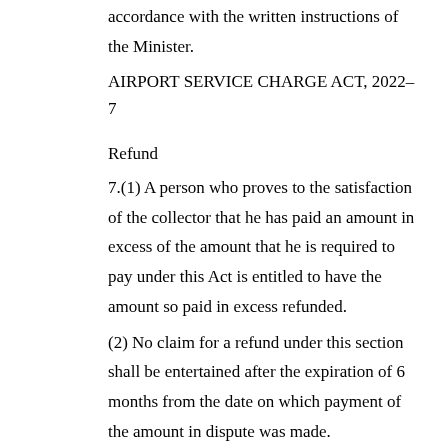accordance with the written instructions of the Minister.
AIRPORT SERVICE CHARGE ACT, 2022–7
Refund
7.(1) A person who proves to the satisfaction of the collector that he has paid an amount in excess of the amount that he is required to pay under this Act is entitled to have the amount so paid in excess refunded.
(2) No claim for a refund under this section shall be entertained after the expiration of 6 months from the date on which payment of the amount in dispute was made.
Recovery of charge